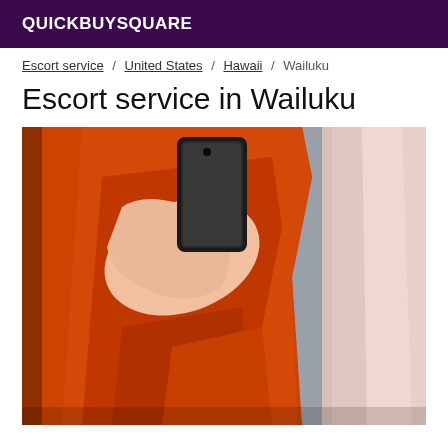QUICKBUYSQUARE
Escort service / United States / Hawaii / Wailuku
Escort service in Wailuku
[Figure (photo): Mirror selfie photo of a person wearing an orange open shirt/robe, holding a black smartphone, with partial figure visible. Right side shows a lighter pink/beige garment or curtain.]